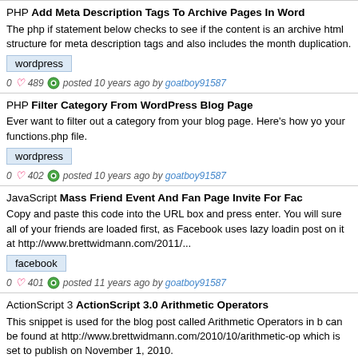PHP Add Meta Description Tags To Archive Pages In WordPress
The php if statement below checks to see if the content is an archive html structure for meta description tags and also includes the month duplication.
wordpress
0 489 posted 10 years ago by goatboy91587
PHP Filter Category From WordPress Blog Page
Ever want to filter out a category from your blog page. Here's how you your functions.php file.
wordpress
0 402 posted 10 years ago by goatboy91587
JavaScript Mass Friend Event And Fan Page Invite For Facebook
Copy and paste this code into the URL box and press enter. You will sure all of your friends are loaded first, as Facebook uses lazy loading post on it at http://www.brettwidmann.com/2011/...
facebook
0 401 posted 11 years ago by goatboy91587
ActionScript 3 ActionScript 3.0 Arithmetic Operators
This snippet is used for the blog post called Arithmetic Operators in blog can be found at http://www.brettwidmann.com/2010/10/arithmetic-operators which is set to publish on November 1, 2010.
flash
0 405 posted 11 years ago by goatboy91587